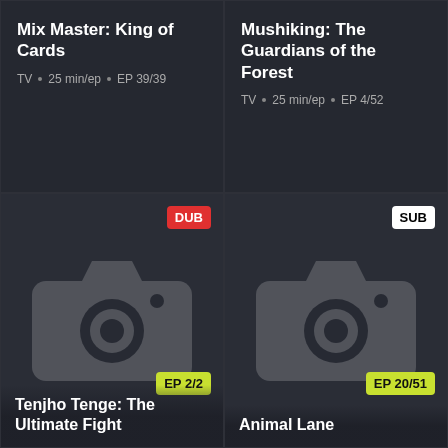Mix Master: King of Cards
TV • 25 min/ep • EP 39/39
Mushiking: The Guardians of the Forest
TV • 25 min/ep • EP 4/52
[Figure (screenshot): Dark placeholder card with DUB badge and camera icon, showing Tenjho Tenge: The Ultimate Fight, EP 2/2]
Tenjho Tenge: The Ultimate Fight
[Figure (screenshot): Dark placeholder card with SUB badge and camera icon, showing Animal Lane, EP 20/51]
Animal Lane